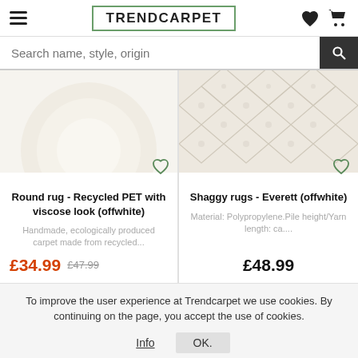TRENDCARPET
Search name, style, origin
[Figure (photo): Partial view of round offwhite rug]
Round rug - Recycled PET with viscose look (offwhite)
Handmade, ecologically produced carpet made from recycled...
£34.99  £47.99
[Figure (photo): Partial view of shaggy offwhite rug with diamond pattern]
Shaggy rugs - Everett (offwhite)
Material: Polypropylene.Pile height/Yarn length: ca....
£48.99
To improve the user experience at Trendcarpet we use cookies. By continuing on the page, you accept the use of cookies.
Info  OK.